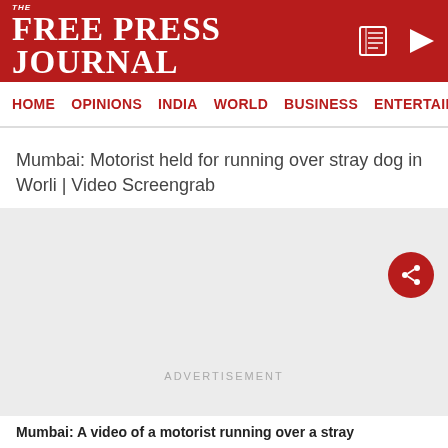THE FREE PRESS JOURNAL
HOME  OPINIONS  INDIA  WORLD  BUSINESS  ENTERTAIN
Mumbai: Motorist held for running over stray dog in Worli | Video Screengrab
[Figure (screenshot): Advertisement placeholder area with share button]
Mumbai: A video of a motorist running over a stray...
ADVERTISEMENT